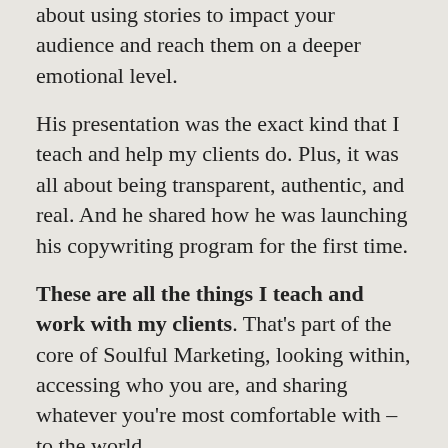about using stories to impact your audience and reach them on a deeper emotional level.
His presentation was the exact kind that I teach and help my clients do. Plus, it was all about being transparent, authentic, and real. And he shared how he was launching his copywriting program for the first time.
These are all the things I teach and work with my clients. That’s part of the core of Soulful Marketing, looking within, accessing who you are, and sharing whatever you’re most comfortable with – to the world.
This is THE way to market now. Be honest, authentic, and transparent. You are building a community of like-minded people. Your business isn’t about you. And it’s about the people you serve and how you can help them in your unique way.